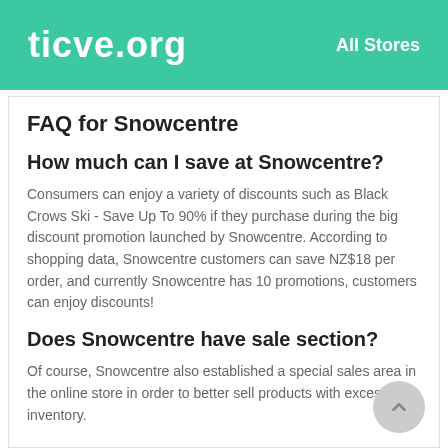ticve.org   All Stores
FAQ for Snowcentre
How much can I save at Snowcentre?
Consumers can enjoy a variety of discounts such as Black Crows Ski - Save Up To 90% if they purchase during the big discount promotion launched by Snowcentre. According to shopping data, Snowcentre customers can save NZ$18 per order, and currently Snowcentre has 10 promotions, customers can enjoy discounts!
Does Snowcentre have sale section?
Of course, Snowcentre also established a special sales area in the online store in order to better sell products with excess inventory.